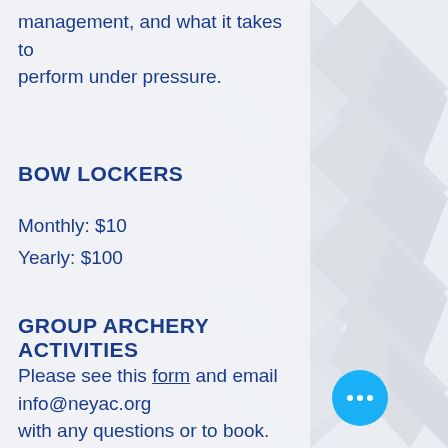management, and what it takes to perform under pressure.
BOW LOCKERS
Monthly: $10
Yearly: $100
GROUP ARCHERY ACTIVITIES
Please see this form and email info@neyac.org with any questions or to book.